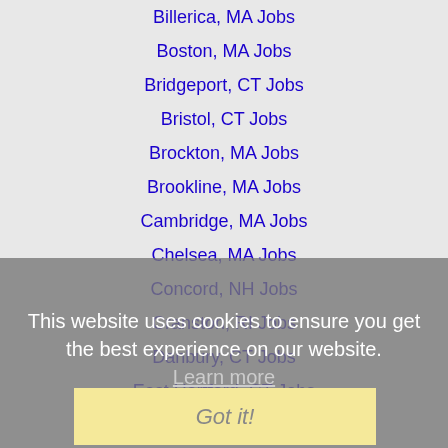Billerica, MA Jobs
Boston, MA Jobs
Bridgeport, CT Jobs
Bristol, CT Jobs
Brockton, MA Jobs
Brookline, MA Jobs
Cambridge, MA Jobs
Chelsea, MA Jobs
Concord, NH Jobs
Cranston, RI Jobs
Danbury, CT Jobs
East Hartford, CT Jobs
East Providence, RI Jobs
Fairfield, CT Jobs
Fall River, MA Jobs
Framingham, MA Jobs
Greenwich, CT Jobs
Hamden, CT Jobs
This website uses cookies to ensure you get the best experience on our website. Learn more
Got it!